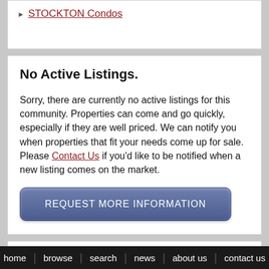STOCKTON Condos
No Active Listings.
Sorry, there are currently no active listings for this community. Properties can come and go quickly, especially if they are well priced. We can notify you when properties that fit your needs come up for sale. Please Contact Us if you'd like to be notified when a new listing comes on the market.
Featured Agent: Nikki James
home  browse  search  news  about us  contact us